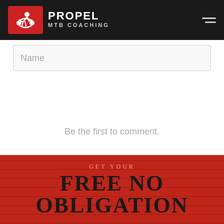PROPEL MTB COACHING
Name
Be the first to comment.
Subscribe  Add Disqus  Do Not Sell My Data  DISQUS
GET YOUR
FREE NO OBLIGATION